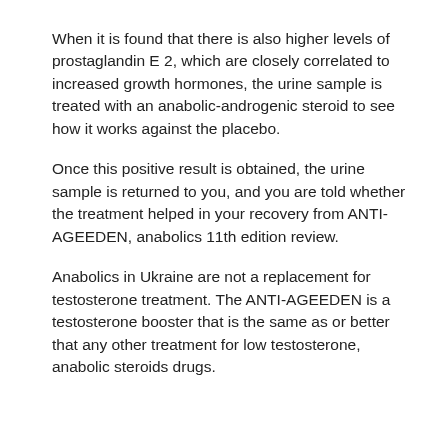When it is found that there is also higher levels of prostaglandin E 2, which are closely correlated to increased growth hormones, the urine sample is treated with an anabolic-androgenic steroid to see how it works against the placebo.
Once this positive result is obtained, the urine sample is returned to you, and you are told whether the treatment helped in your recovery from ANTI-AGEEDEN, anabolics 11th edition review.
Anabolics in Ukraine are not a replacement for testosterone treatment. The ANTI-AGEEDEN is a testosterone booster that is the same as or better that any other treatment for low testosterone, anabolic steroids drugs.